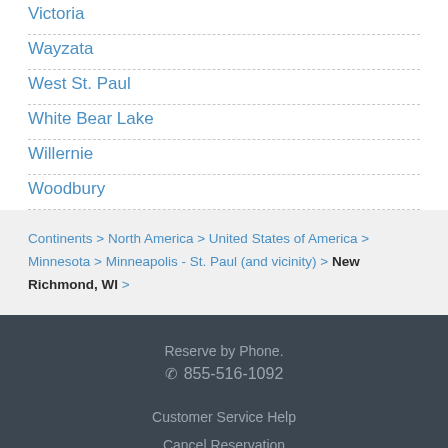Victoria
Wayzata
West St. Paul
White Bear Lake
Willernie
Woodbury
Continents > North America > United States of America > Minnesota > Minneapolis - St. Paul (and vicinity) > New Richmond, WI >
Reserve by Phone.
☎ 855-516-1092
Customer Service Help
Cancel Reservation